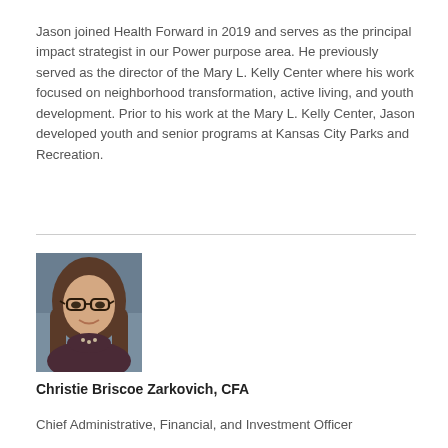Jason joined Health Forward in 2019 and serves as the principal impact strategist in our Power purpose area. He previously served as the director of the Mary L. Kelly Center where his work focused on neighborhood transformation, active living, and youth development. Prior to his work at the Mary L. Kelly Center, Jason developed youth and senior programs at Kansas City Parks and Recreation.
[Figure (photo): Headshot photograph of Christie Briscoe Zarkovich, a woman with shoulder-length brown hair and glasses, smiling, wearing a dark top with a necklace, photographed against a blurred blue-grey background.]
Christie Briscoe Zarkovich, CFA
Chief Administrative, Financial, and Investment Officer